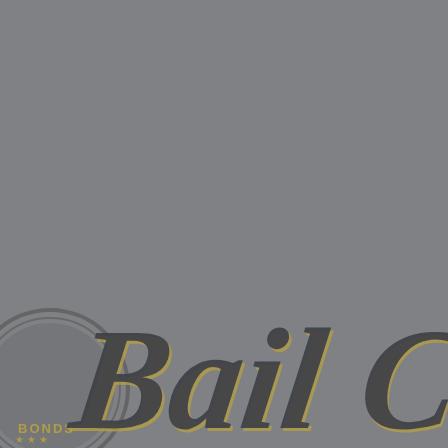[Figure (logo): Partial bail bonds company logo. Left side shows a circular badge/seal with the text 'BONDS' visible and star decorations. To the right, large stylized cursive script text reads 'Bail' in dark charcoal color with gold/yellow fill, partially cut off. The background is a medium grey (#7f8184). The logo appears in the bottom portion of the image.]